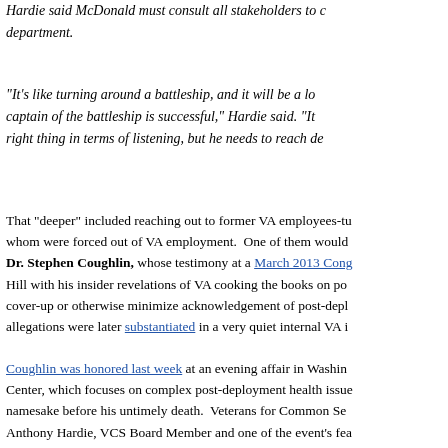Hardie said McDonald must consult all stakeholders to change the department.
"It's like turning around a battleship, and it will be a long time before the captain of the battleship is successful," Hardie said. "It seems he's doing the right thing in terms of listening, but he needs to reach deeper."
That “deeper” included reaching out to former VA employees-turned-critics, some of whom were forced out of VA employment.  One of them would be Dr. Stephen Coughlin, whose testimony at a March 2013 Congressional hearing on Capitol Hill with his insider revelations of VA cooking the books on post-deployment health to cover-up or otherwise minimize acknowledgement of post-deployment conditions. His allegations were later substantiated in a very quiet internal VA investigation.
Coughlin was honored last week at an evening affair in Washington at the Coughlin Center, which focuses on complex post-deployment health issues that bear the doctor's namesake before his untimely death.  Veterans for Common Sense honored him, and Anthony Hardie, VCS Board Member and one of the event's featured speakers.